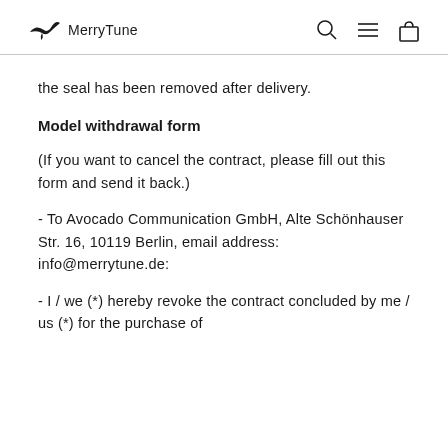MerryTune
the seal has been removed after delivery.
Model withdrawal form
(If you want to cancel the contract, please fill out this form and send it back.)
- To Avocado Communication GmbH, Alte Schönhauser Str. 16, 10119 Berlin, email address: info@merrytune.de:
- I / we (*) hereby revoke the contract concluded by me / us (*) for the purchase of